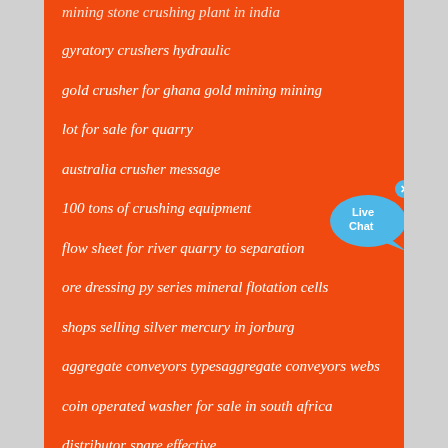mining stone crushing plant in india
gyratory crushers hydraulic
gold crusher for ghana gold mining mining
lot for sale for quarry
australia crusher message
100 tons of crushing equipment
flow sheet for river quarry to separation
ore dressing py series mineral flotation cells
shops selling silver mercury in jorburg
aggregate conveyors typesaggregate conveyors webs
coin operated washer for sale in south africa
distributor spare effective
quarry equipment nashik
[Figure (illustration): Live Chat button — blue speech bubble with fish tail shape, white text 'Live Chat', with a small blue X close button in top-right corner]